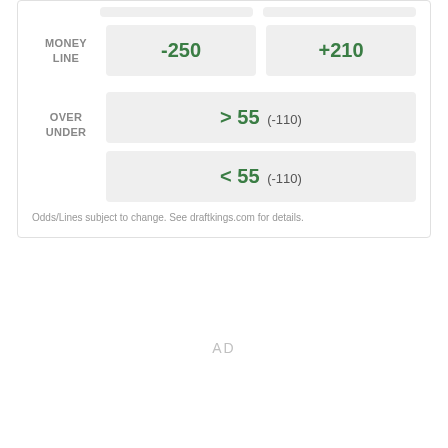|  | Team 1 | Team 2 |
| --- | --- | --- |
| MONEY LINE | -250 | +210 |
| OVER UNDER | > 55 (-110) | < 55 (-110) |
Odds/Lines subject to change. See draftkings.com for details.
AD